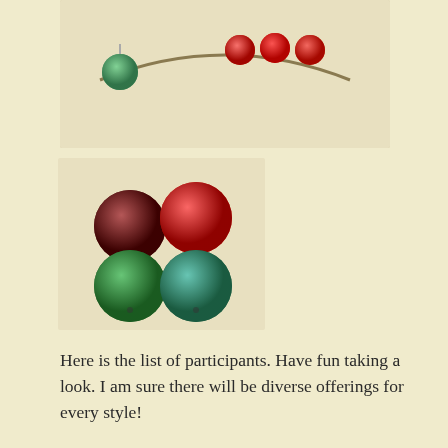[Figure (photo): Top photo: jewelry piece with colorful round enamel pendants (green, red) arranged on a light fabric background.]
[Figure (photo): Bottom photo: four round enamel discs — two dark red/maroon on top, two green on bottom — arranged on a light fabric background.]
Here is the list of participants. Have fun taking a look. I am sure there will be diverse offerings for every style!
Diana Ptaszynski
 http://www.suburbangirlstudio.com
Jan Onipenco   http://moltenmayhem.typepad.com/
Patti Vanderbloemen